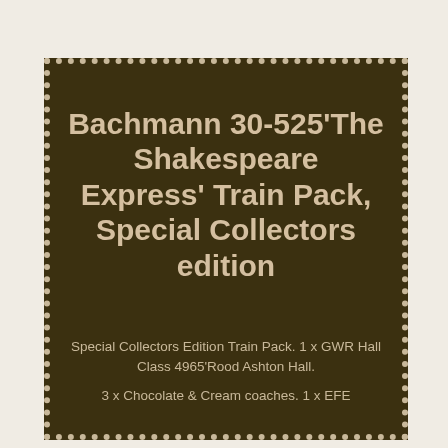Bachmann 30-525'The Shakespeare Express' Train Pack, Special Collectors edition
Special Collectors Edition Train Pack. 1 x GWR Hall Class 4965'Rood Ashton Hall.
3 x Chocolate & Cream coaches. 1 x EFE